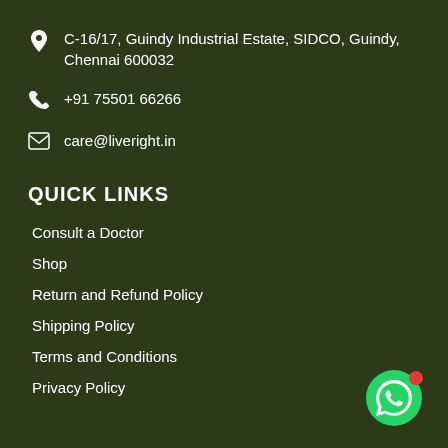C-16/17, Guindy Industrial Estate, SIDCO, Guindy, Chennai 600032
+91 75501 66266
care@liveright.in
QUICK LINKS
Consult a Doctor
Shop
Return and Refund Policy
Shipping Policy
Terms and Conditions
Privacy Policy
[Figure (logo): WhatsApp chat button (green circle with WhatsApp icon and red notification dot)]